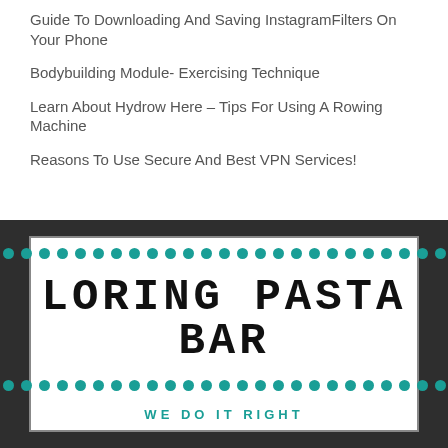Guide To Downloading And Saving InstagramFilters On Your Phone
Bodybuilding Module- Exercising Technique
Learn About Hydrow Here – Tips For Using A Rowing Machine
Reasons To Use Secure And Best VPN Services!
[Figure (logo): Loring Pasta Bar logo with teal dotted border rows above and below the brand name, and the tagline 'WE DO IT RIGHT' below]